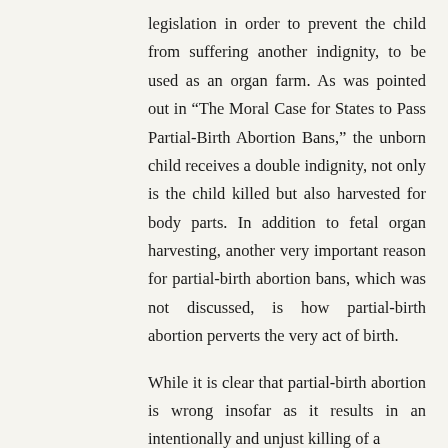legislation in order to prevent the child from suffering another indignity, to be used as an organ farm. As was pointed out in “The Moral Case for States to Pass Partial-Birth Abortion Bans,” the unborn child receives a double indignity, not only is the child killed but also harvested for body parts. In addition to fetal organ harvesting, another very important reason for partial-birth abortion bans, which was not discussed, is how partial-birth abortion perverts the very act of birth.

While it is clear that partial-birth abortion is wrong insofar as it results in an intentionally and unjust killing of a